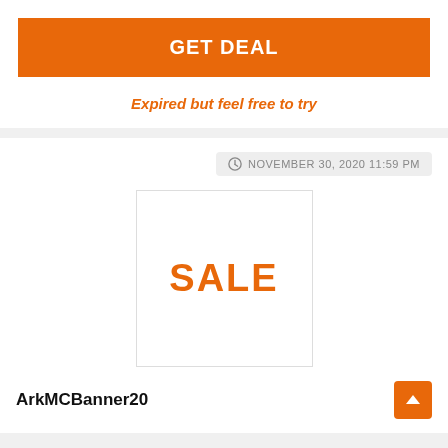GET DEAL
Expired but feel free to try
NOVEMBER 30, 2020 11:59 PM
[Figure (illustration): White square box with orange bold text 'SALE' centered inside]
ArkMCBanner20